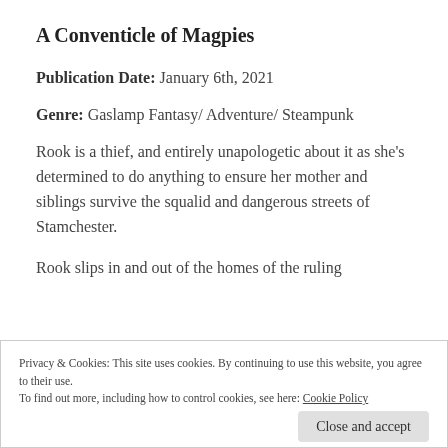A Conventicle of Magpies
Publication Date: January 6th, 2021
Genre: Gaslamp Fantasy/ Adventure/ Steampunk
Rook is a thief, and entirely unapologetic about it as she's determined to do anything to ensure her mother and siblings survive the squalid and dangerous streets of Stamchester.
Rook slips in and out of the homes of the ruling
Privacy & Cookies: This site uses cookies. By continuing to use this website, you agree to their use.
To find out more, including how to control cookies, see here: Cookie Policy
Close and accept
homes years before and transported them across